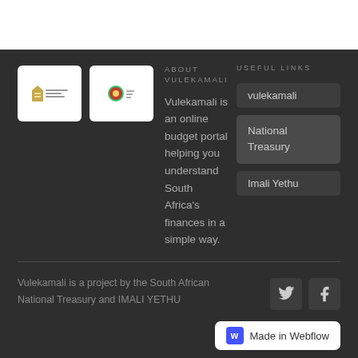[Figure (logo): Two logo boxes with white backgrounds: first has a coat-of-arms style icon with horizontal lines, second has a circular emblem with text]
ABOUT VULEKAMALI
Vulekamali is an online budget portal helping you understand South Africa's finances in a simple way.
USEFUL LINKS
vulekamali
National Treasury
Imali Yethu
Vulekamali is a project by the South African National Treasury and IMALI YETHU
[Figure (logo): Twitter and Facebook social media icon buttons]
[Figure (logo): Made in Webflow badge]